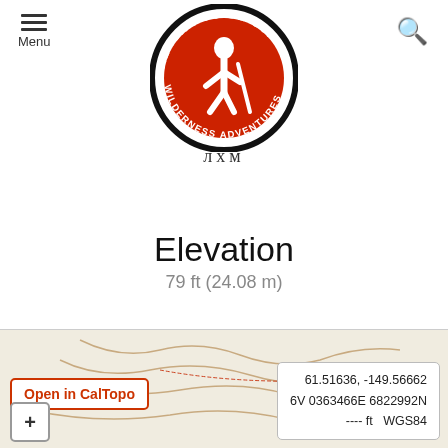[Figure (logo): Alaska Guide Co. Wilderness Adventures circular logo with red and white hiker silhouette, black border with text around circumference, and small decorative mountain/rune text below]
Menu  [search icon]
Elevation
79 ft (24.08 m)
[Figure (illustration): Gray walking person / pedestrian icon]
Uses
[Figure (map): Topographic map section showing contour lines, road label, Gravel Pits label, with CalTopo overlay controls and coordinate display: 61.51636, -149.56662 / 6V 0363466E 6822992N / ---- ft  WGS84]